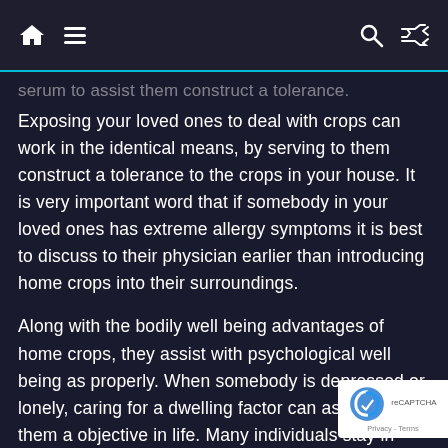Home navigation and search bar
serum to assist them construct a tolerance.
Exposing your loved ones to deal with crops can work in the identical means, by serving to them construct a tolerance to the crops in your house. It is very important word that if somebody in your loved ones has extreme allergy symptoms it is best to discuss to their physician earlier than introducing home crops into their surroundings.
Along with the bodily well being advantages of home crops, they assist with psychological well being as properly. When somebody is depressed or lonely, caring for a dwelling factor can assist give them a objective in life. Many individuals stay in locations the place pets aren't allowed, so a home plant is an effective selection. The indivi turns into concerned in watering, fertilizing and